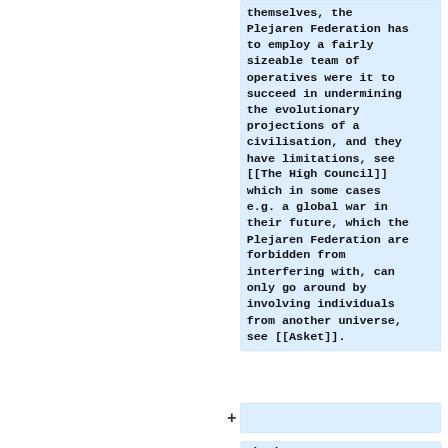themselves, the Plejaren Federation has to employ a fairly sizeable team of operatives were it to succeed in undermining the evolutionary projections of a civilisation, and they have limitations, see [[The High Council]] which in some cases e.g. a global war in their future, which the Plejaren Federation are forbidden from interfering with, can only go around by involving individuals from another universe, see [[Asket]].
+
Whether unsure or